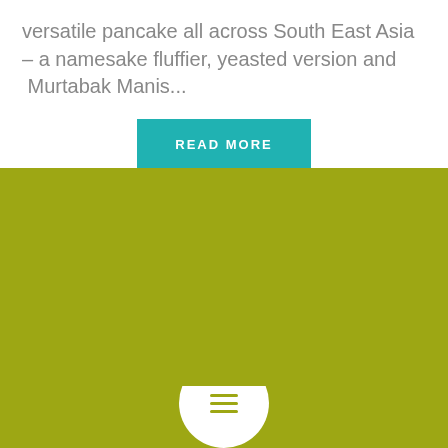versatile pancake all across South East Asia – a namesake fluffier, yeasted version and  Murtabak Manis...
READ MORE
[Figure (illustration): Olive/yellow-green background section with a white circular avatar/profile icon emerging from the bottom center]